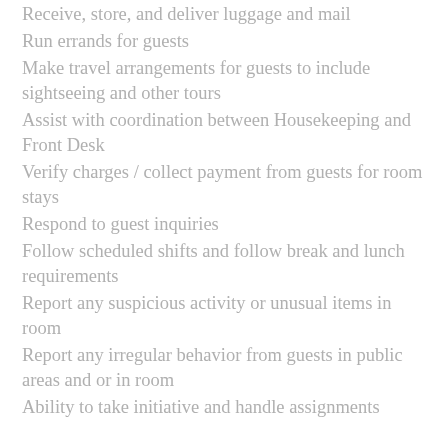Receive, store, and deliver luggage and mail
Run errands for guests
Make travel arrangements for guests to include sightseeing and other tours
Assist with coordination between Housekeeping and Front Desk
Verify charges / collect payment from guests for room stays
Respond to guest inquiries
Follow scheduled shifts and follow break and lunch requirements
Report any suspicious activity or unusual items in room
Report any irregular behavior from guests in public areas and or in room
Ability to take initiative and handle assignments